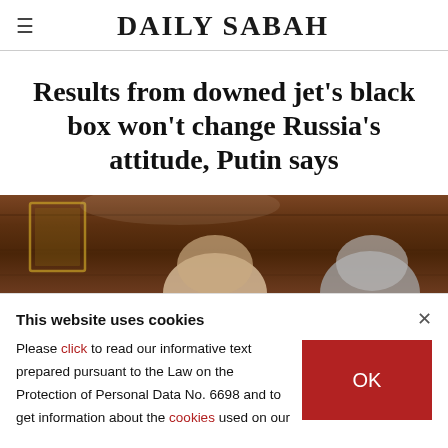DAILY SABAH
Results from downed jet's black box won't change Russia's attitude, Putin says
[Figure (photo): Two men seated at a table, photographed in a wood-paneled room, partially visible at bottom of frame]
This website uses cookies
Please click to read our informative text prepared pursuant to the Law on the Protection of Personal Data No. 6698 and to get information about the cookies used on our